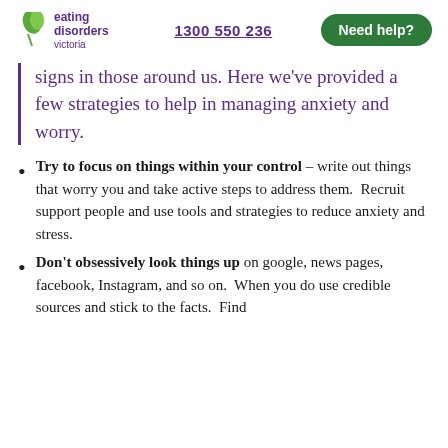eating disorders victoria | 1300 550 236 | Need help?
signs in those around us. Here we've provided a few strategies to help in managing anxiety and worry.
Try to focus on things within your control – write out things that worry you and take active steps to address them.  Recruit support people and use tools and strategies to reduce anxiety and stress.
Don't obsessively look things up on google, news pages, facebook, Instagram, and so on.  When you do use credible sources and stick to the facts.  Find